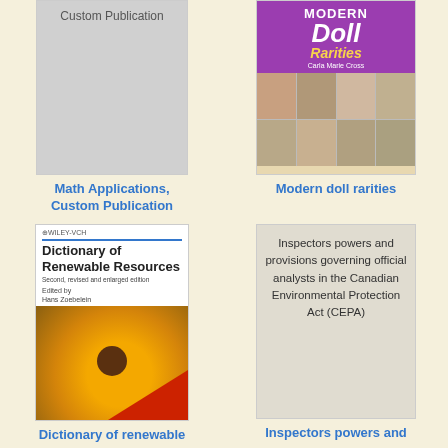[Figure (illustration): Book cover placeholder for Math Applications, Custom Publication - gray rectangle with text]
Math Applications, Custom Publication
[Figure (illustration): Book cover for Modern doll rarities - purple header with Doll Rarities title, grid of doll photos]
Modern doll rarities
[Figure (illustration): Book cover for Dictionary of Renewable Resources - Wiley-VCH, second revised and enlarged edition, edited by Hans Zoebelein, sunflower image]
Dictionary of renewable
[Figure (illustration): Book cover placeholder for Inspectors powers and provisions governing official analysts in the Canadian Environmental Protection Act (CEPA) - gray rectangle with text]
Inspectors powers and